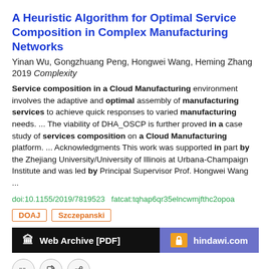A Heuristic Algorithm for Optimal Service Composition in Complex Manufacturing Networks
Yinan Wu, Gongzhuang Peng, Hongwei Wang, Heming Zhang
2019 Complexity
Service composition in a Cloud Manufacturing environment involves the adaptive and optimal assembly of manufacturing services to achieve quick responses to varied manufacturing needs. ... The viability of DHA_OSCP is further proved in a case study of services composition on a Cloud Manufacturing platform. ... Acknowledgments This work was supported in part by the Zhejiang University/University of Illinois at Urbana-Champaign Institute and was led by Principal Supervisor Prof. Hongwei Wang ...
doi:10.1155/2019/7819523  fatcat:tqhap6qr35elncwmjfthc2opoa
DOAJ  Szczepanski
Web Archive [PDF]  hindawi.com
A Study on Strategic Provisioning of Cloud Computing